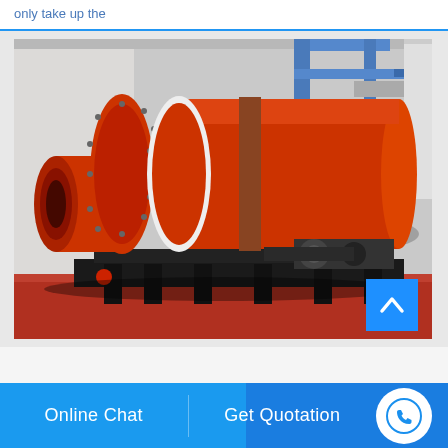only take up the
[Figure (photo): Large industrial rotary drum/ball mill machine painted orange-red, sitting on a heavy black steel frame/base inside a factory/warehouse with metal infrastructure visible in background. The cylindrical drum has flanges and bolted connections.]
Online Chat
Get Quotation